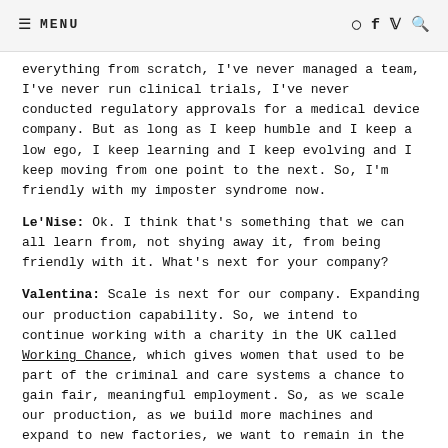≡ MENU | icons: instagram, facebook, twitter, search
everything from scratch, I've never managed a team, I've never run clinical trials, I've never conducted regulatory approvals for a medical device company. But as long as I keep humble and I keep a low ego, I keep learning and I keep evolving and I keep moving from one point to the next. So, I'm friendly with my imposter syndrome now.
Le'Nise: Ok. I think that's something that we can all learn from, not shying away it, from being friendly with it. What's next for your company?
Valentina: Scale is next for our company. Expanding our production capability. So, we intend to continue working with a charity in the UK called Working Chance, which gives women that used to be part of the criminal and care systems a chance to gain fair, meaningful employment. So, as we scale our production, as we build more machines and expand to new factories, we want to remain in the UK and remain working with these women, giving and making an impact in our direct community apart from just